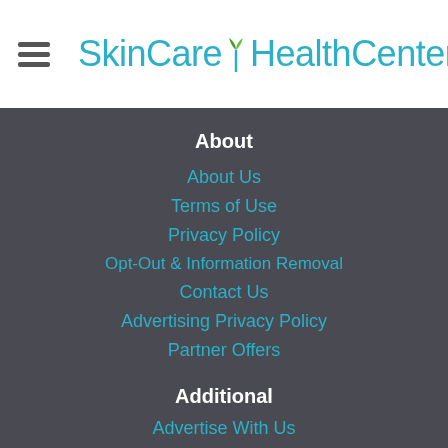SkinCare HealthCenter
About
About Us
Terms of Use
Privacy Policy
Opt-Out & Information Removal
Contact Us
Advertising Privacy Policy
Partner Offers
Additional
Advertise With Us